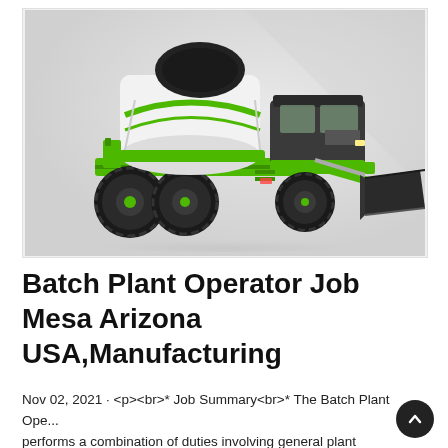[Figure (photo): Green self-loading concrete mixer truck with large black drum, cab, and front bucket loader on white/light grey background]
Batch Plant Operator Job Mesa Arizona USA,Manufacturing
Nov 02, 2021 · <p><br>* Job Summary<br>* The Batch Plant Ope... performs a combination of duties involving general plant maintenance